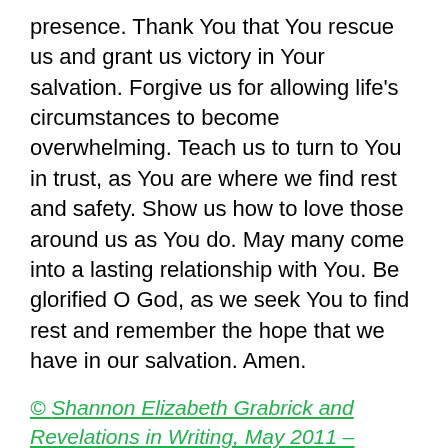presence. Thank You that You rescue us and grant us victory in Your salvation. Forgive us for allowing life's circumstances to become overwhelming. Teach us to turn to You in trust, as You are where we find rest and safety. Show us how to love those around us as You do. May many come into a lasting relationship with You. Be glorified O God, as we seek You to find rest and remember the hope that we have in our salvation. Amen.
© Shannon Elizabeth Grabrick and Revelations in Writing, May 2011 – present
Yes, my soul, find rest in God; my hope comes from Him. – Psalm 62:5